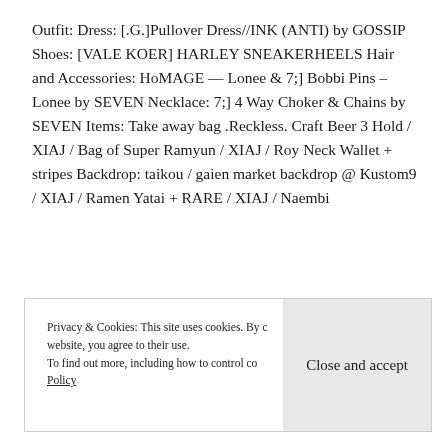Outfit: Dress: [.G.]Pullover Dress//INK (ANTI) by GOSSIP Shoes: [VALE KOER] HARLEY SNEAKERHEELS Hair and Accessories: HoMAGE — Lonee & 7;] Bobbi Pins – Lonee by SEVEN Necklace: 7;] 4 Way Choker & Chains by SEVEN Items: Take away bag .Reckless. Craft Beer 3 Hold / XIAJ / Bag of Super Ramyun / XIAJ / Roy Neck Wallet + stripes Backdrop: taikou / gaien market backdrop @ Kustom9 / XIAJ / Ramen Yatai + RARE / XIAJ / Naembi
Privacy & Cookies: This site uses cookies. By continuing to use this website, you agree to their use. To find out more, including how to control cookies, see here: Cookie Policy
Close and accept